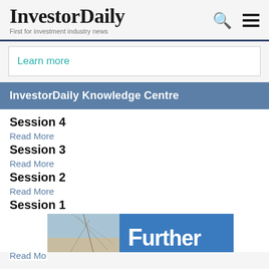InvestorDaily — First for investment industry news
Learn more
InvestorDaily Knowledge Centre
Session 4
Read More
Session 3
Read More
Session 2
Read More
Session 1
Read Mo
[Figure (photo): Banner image with tree branches against sky and the text 'Further' in white on a blue background]